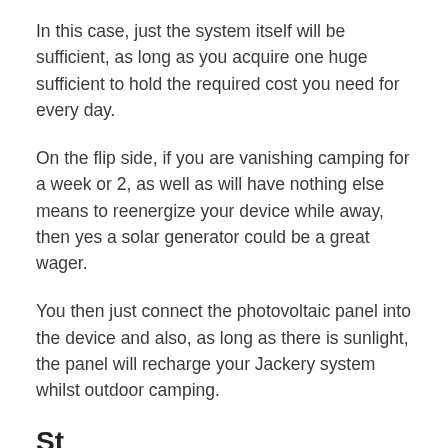In this case, just the system itself will be sufficient, as long as you acquire one huge sufficient to hold the required cost you need for every day.
On the flip side, if you are vanishing camping for a week or 2, as well as will have nothing else means to reenergize your device while away, then yes a solar generator could be a great wager.
You then just connect the photovoltaic panel into the device and also, as long as there is sunlight, the panel will recharge your Jackery system whilst outdoor camping.
St...